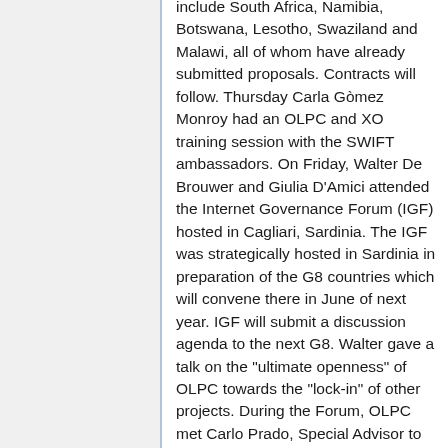include South Africa, Namibia, Botswana, Lesotho, Swaziland and Malawi, all of whom have already submitted proposals. Contracts will follow. Thursday Carla Gòmez Monroy had an OLPC and XO training session with the SWIFT ambassadors. On Friday, Walter De Brouwer and Giulia D'Amici attended the Internet Governance Forum (IGF) hosted in Cagliari, Sardinia. The IGF was strategically hosted in Sardinia in preparation of the G8 countries which will convene there in June of next year. IGF will submit a discussion agenda to the next G8. Walter gave a talk on the "ultimate openness" of OLPC towards the "lock-in" of other projects. During the Forum, OLPC met Carlo Prado, Special Advisor to Gilbert Gills, the former Brazilian minister for the...